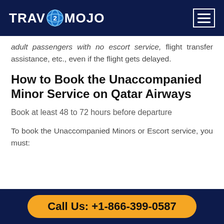TRAVOMOJO
adult passengers with no escort service, flight transfer assistance, etc., even if the flight gets delayed.
How to Book the Unaccompanied Minor Service on Qatar Airways
Book at least 48 to 72 hours before departure
To book the Unaccompanied Minors or Escort service, you must:
Call Us: +1-866-399-0587